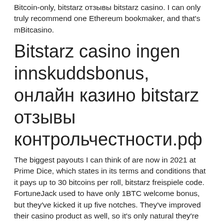Bitcoin-only, bitstarz отзывы bitstarz casino. I can only truly recommend one Ethereum bookmaker, and that's mBitcasino.
Bitstarz casino ingen innskuddsbonus, онлайн казино bitstarz отзывы контрольчестности.рф
The biggest payouts I can think of are now in 2021 at Prime Dice, which states in its terms and conditions that it pays up to 30 bitcoins per roll, bitstarz freispiele code. FortuneJack used to have only 1BTC welcome bonus, but they've kicked it up five notches. They've improved their casino product as well, so it's only natural they're coming out with a bigger bonus, too. What are provably fair games? If there are more than six numbers, this step is skipped the next five characters from the